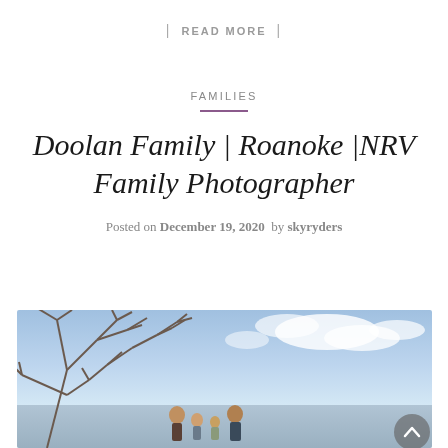| READ MORE |
FAMILIES
Doolan Family | Roanoke |NRV Family Photographer
Posted on December 19, 2020  by skyryders
[Figure (photo): Outdoor family photo session with bare winter trees on the left, a blue sky with clouds, and a family group visible at the bottom center of the image.]